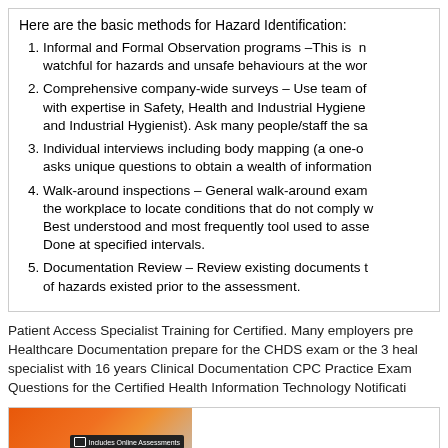Here are the basic methods for Hazard Identification:
Informal and Formal Observation programs –This is n... watchful for hazards and unsafe behaviours at the wor...
Comprehensive company-wide surveys – Use team of... with expertise in Safety, Health and Industrial Hygiene... and Industrial Hygienist). Ask many people/staff the sa...
Individual interviews including body mapping (a one-o... asks unique questions to obtain a wealth of information...
Walk-around inspections – General walk-around exam... the workplace to locate conditions that do not comply w... Best understood and most frequently tool used to asse... Done at specified intervals.
Documentation Review – Review existing documents t... of hazards existed prior to the assessment.
Patient Access Specialist Training for Certified. Many employers pre... Healthcare Documentation prepare for the CHDS exam or the 3 heal... specialist with 16 years Clinical Documentation CPC Practice Exam... Questions for the Certified Health Information Technology Notificati...
[Figure (photo): Book or course cover image with orange gradient background and a small monitor badge icon with text 'Includes Online Assessments']